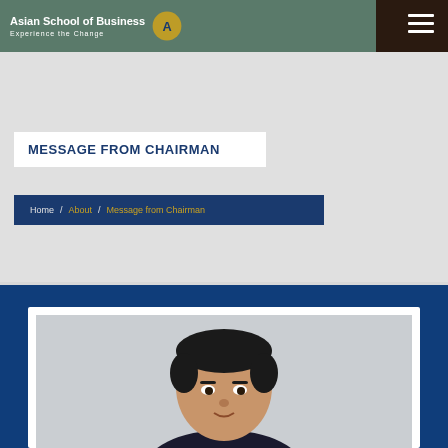Asian School of Business — Experience the Change
MESSAGE FROM CHAIRMAN
Home / About / Message from Chairman
[Figure (photo): Portrait photo of a man (the Chairman), head and shoulders visible, with light background]